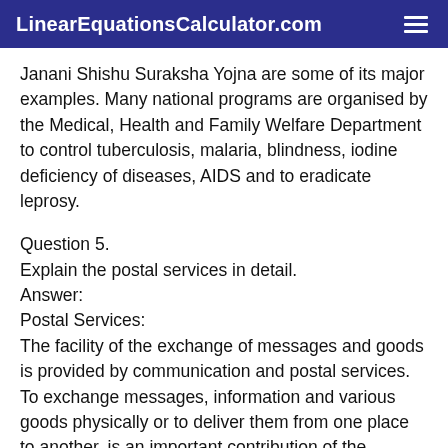LinearEquationsCalculator.com
Janani Shishu Suraksha Yojna are some of its major examples. Many national programs are organised by the Medical, Health and Family Welfare Department to control tuberculosis, malaria, blindness, iodine deficiency of diseases, AIDS and to eradicate leprosy.
Question 5.
Explain the postal services in detail.
Answer:
Postal Services:
The facility of the exchange of messages and goods is provided by communication and postal services. To exchange messages, information and various goods physically or to deliver them from one place to another, is an important contribution of the